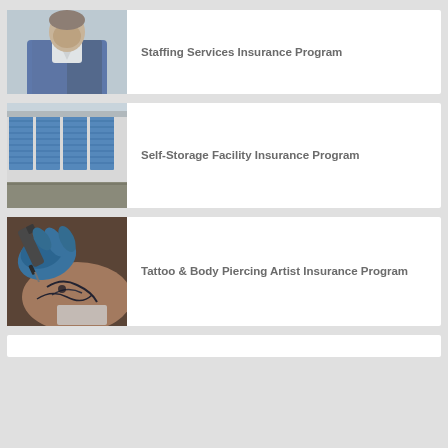[Figure (photo): Person in blue suit jacket, upper body, looking down]
Staffing Services Insurance Program
[Figure (photo): Row of blue self-storage unit doors with gravel driveway]
Self-Storage Facility Insurance Program
[Figure (photo): Tattoo artist with blue gloves working on a tattoo on arm]
Tattoo & Body Piercing Artist Insurance Program